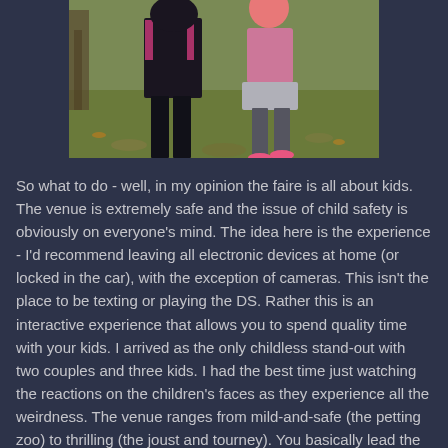[Figure (photo): Two children walking away from the camera on a grassy outdoor area. One child on the left wears dark clothing with pink accents, the other on the right wears a pink/gray hoodie and skirt with pink shoes.]
So what to do - well, in my opinion the faire is all about kids. The venue is extremely safe and the issue of child safety is obviously on everyone's mind. The idea here is the experience - I'd recommend leaving all electronic devices at home (or locked in the car), with the exception of cameras. This isn't the place to be texting or playing the DS. Rather this is an interactive experience that allows you to spend quality time with your kids. I arrived as the only childless stand-out with two couples and three kids. I had the best time just watching the reactions on the children's faces as they experience all the weirdness. The venue ranges from mild-and-safe (the petting zoo) to thrilling (the joust and tourney). You basically lead the kids around and let them explore - there are many distractions to keep them busy while you drink your ale and maintain a slight buzz.